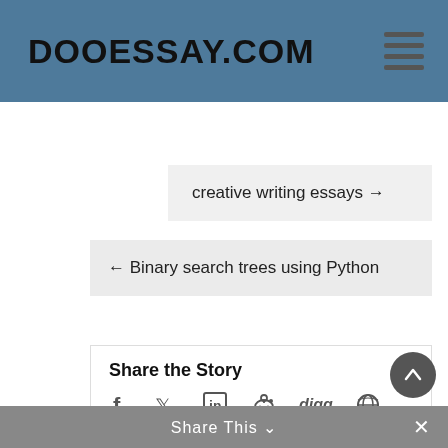DOOESSAY.COM
creative writing essays →
← Binary search trees using Python
Share the Story
[Figure (other): Social sharing icons: Facebook, Twitter, LinkedIn, Reddit, Digg, globe/share, Google+, email]
Share This ∨